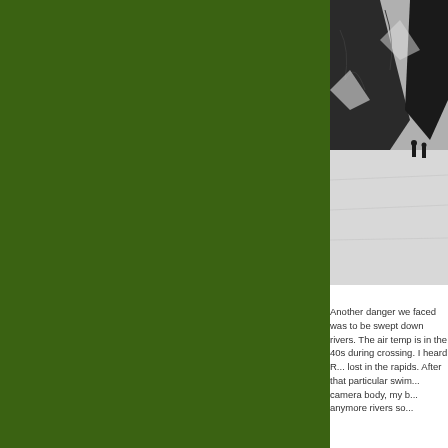[Figure (photo): Black and white photograph of two people standing on a snowy glacier or snowfield with dark rocky mountains in the background. The scene appears to be in a remote mountainous wilderness area.]
Another danger we faced was to be swept down rivers. The air temp is in the 40s during crossing. I heard R... lost in the rapids. After that particular swim... camera body, my b... anymore rivers so...